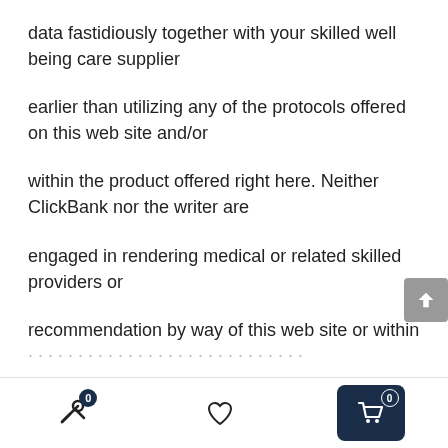data fastidiously together with your skilled well being care supplier
earlier than utilizing any of the protocols offered on this web site and/or
within the product offered right here. Neither ClickBank nor the writer are
engaged in rendering medical or related skilled providers or
recommendation by way of this web site or within